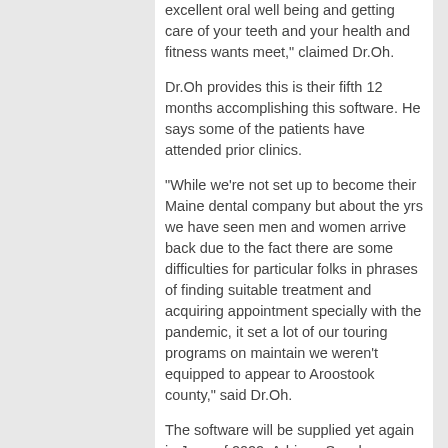excellent oral well being and getting care of your teeth and your health and fitness wants meet," claimed Dr.Oh.
Dr.Oh provides this is their fifth 12 months accomplishing this software. He says some of the patients have attended prior clinics.
“While we’re not set up to become their Maine dental company but about the yrs we have seen men and women arrive back due to the fact there are some difficulties for particular folks in phrases of finding suitable treatment and acquiring appointment specially with the pandemic, it set a lot of our touring programs on maintain we weren’t equipped to appear to Aroostook county,” said Dr.Oh.
The software will be supplied yet again in June of 2022. Adriana Sanchez NewsSource 8.
Copyright 2021 WAGM. All rights reserved.